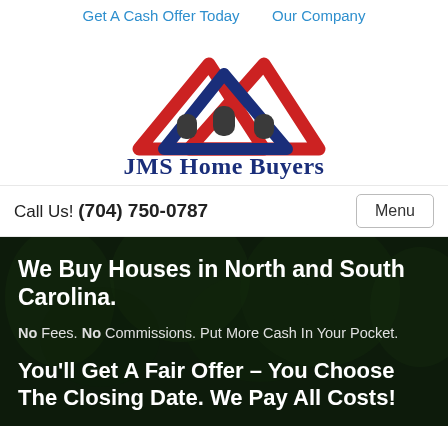Get A Cash Offer Today   Our Company
[Figure (logo): JMS Home Buyers logo: three overlapping house roof triangles (two red outer, one blue center) with arched windows, above the text 'JMS Home Buyers' in dark blue serif font]
Call Us! (704) 750-0787
Menu
We Buy Houses in North and South Carolina.
No Fees. No Commissions. Put More Cash In Your Pocket.
You'll Get A Fair Offer – You Choose The Closing Date. We Pay All Costs!